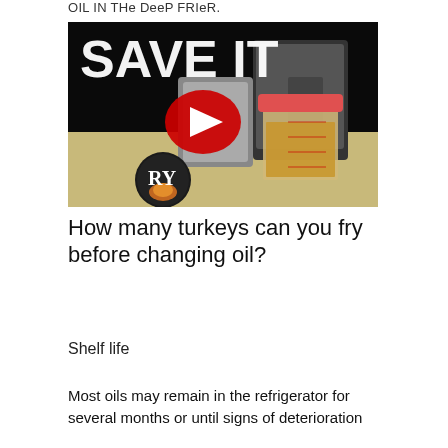OIL IN THe DeeP FRIeR.
[Figure (screenshot): Video thumbnail showing a plastic container with golden oil, a deep fryer appliance on a table, text overlay 'SAVE IT' in large white letters, a YouTube play button in the center, and a channel logo 'RY' with fire graphic in the lower left corner.]
How many turkeys can you fry before changing oil?
Shelf life
Most oils may remain in the refrigerator for several months or until signs of deterioration